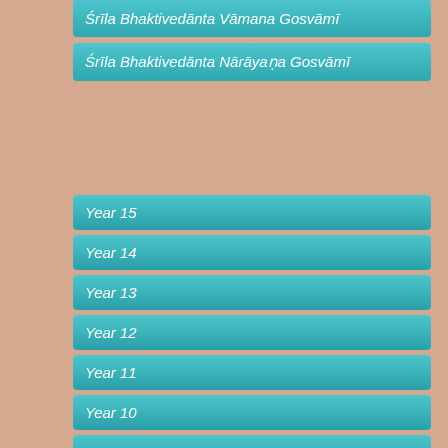Śrīla Bhaktivedānta Vāmana Gosvāmī
Śrīla Bhaktivedānta Nārāyaṇa Gosvāmī
Year 15
Year 14
Year 13
Year 12
Year 11
Year 10
Year 9
Year 8
Year 7
Year 6
Year 5